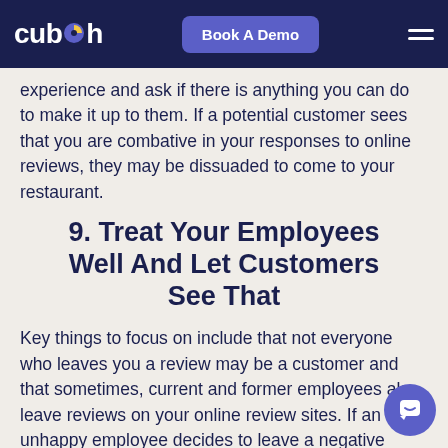cuboh | Book A Demo
experience and ask if there is anything you can do to make it up to them. If a potential customer sees that you are combative in your responses to online reviews, they may be dissuaded to come to your restaurant.
9. Treat Your Employees Well And Let Customers See That
Key things to focus on include that not everyone who leaves you a review may be a customer and that sometimes, current and former employees also leave reviews on your online review sites. If an unhappy employee decides to leave a negative review, that could hurt your online reputation. Make sure everything in your